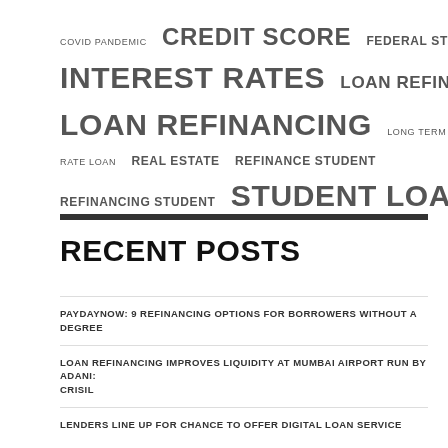[Figure (infographic): Word cloud with finance/loan-related terms in various sizes: COVID PANDEMIC, CREDIT SCORE, FEDERAL STUDENT, FIXED RATE, INTEREST RATES, LOAN REFINANCE, LOAN REFINANCING, LONG TERM, PRIVATE STUDENT, RATE LOAN, REAL ESTATE, REFINANCE STUDENT, REFINANCING STUDENT, STUDENT LOANS, VARIABLE RATE]
RECENT POSTS
PAYDAYNOW: 9 REFINANCING OPTIONS FOR BORROWERS WITHOUT A DEGREE
LOAN REFINANCING IMPROVES LIQUIDITY AT MUMBAI AIRPORT RUN BY ADANI: CRISIL
LENDERS LINE UP FOR CHANCE TO OFFER DIGITAL LOAN SERVICE